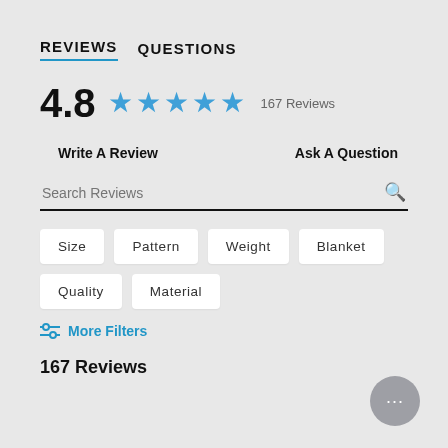REVIEWS   QUESTIONS
4.8 ★★★★★ 167 Reviews
Write A Review
Ask A Question
Search Reviews
Size
Pattern
Weight
Blanket
Quality
Material
More Filters
167 Reviews